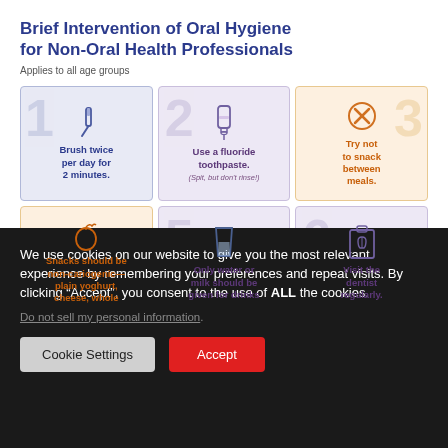Brief Intervention of Oral Hygiene for Non-Oral Health Professionals
Applies to all age groups
[Figure (infographic): Six-panel oral hygiene infographic with icons and instructions: 1) Brush twice per day for 2 minutes, 2) Use a fluoride toothpaste (Spit, but don't rinse!), 3) Try not to snack between meals, 4) Snacks should be non-cariogenic—plain yoghurt, cheese, whole..., 5) Only water or milk should be given for drinks, 6) Visit the dentist regularly.]
We use cookies on our website to give you the most relevant experience by remembering your preferences and repeat visits. By clicking “Accept”, you consent to the use of ALL the cookies.
Do not sell my personal information.
Cookie Settings
Accept